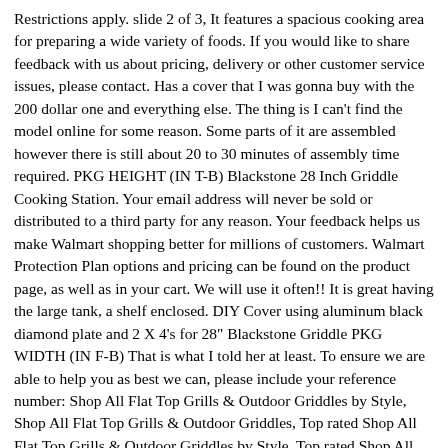Restrictions apply. slide 2 of 3, It features a spacious cooking area for preparing a wide variety of foods. If you would like to share feedback with us about pricing, delivery or other customer service issues, please contact. Has a cover that I was gonna buy with the 200 dollar one and everything else. The thing is I can't find the model online for some reason. Some parts of it are assembled however there is still about 20 to 30 minutes of assembly time required. PKG HEIGHT (IN T-B) Blackstone 28 Inch Griddle Cooking Station. Your email address will never be sold or distributed to a third party for any reason. Your feedback helps us make Walmart shopping better for millions of customers. Walmart Protection Plan options and pricing can be found on the product page, as well as in your cart. We will use it often!! It is great having the large tank, a shelf enclosed. DIY Cover using aluminum black diamond plate and 2 X 4's for 28" Blackstone Griddle PKG WIDTH (IN F-B) That is what I told her at least. To ensure we are able to help you as best we can, please include your reference number: Shop All Flat Top Grills & Outdoor Griddles by Style, Shop All Flat Top Grills & Outdoor Griddles, Top rated Shop All Flat Top Grills & Outdoor Griddles by Style, Top rated Shop All Flat Top Grills & Outdoor Griddles, Large enough to cook 24 pancakes or 12 T-bone steaks, Two independently controlled cooking zones. Venessa. Not sold online Available online Out of stock online. Activate to move to this slide, slide 3 of 3, Get your grill on with a Walmart deal ! Other then this i love mine I've had it